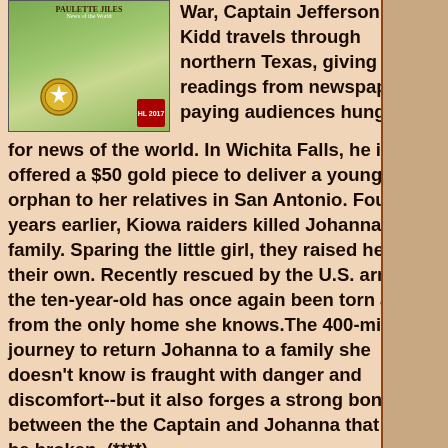[Figure (photo): Book cover of Paulette Jiles novel with landscape scene, medal, and red badge]
War, Captain Jefferson Kyle Kidd travels through northern Texas, giving live readings from newspapers to paying audiences hungry for news of the world. In Wichita Falls, he is offered a $50 gold piece to deliver a young orphan to her relatives in San Antonio. Four years earlier, Kiowa raiders killed Johanna's family. Sparing the little girl, they raised her as their own. Recently rescued by the U.S. army, the ten-year-old has once again been torn away from the only home she knows.The 400-miles journey to return Johanna to a family she doesn't know is fraught with danger and discomfort--but it also forges a strong bond between the the Captain and Johanna that won't be broken. (****)
[Figure (photo): Book cover of Sarah Lotz: Day Four showing dark background with red text]
Sarah Lotz: Day Four: A Novel
A cruise ship has engine